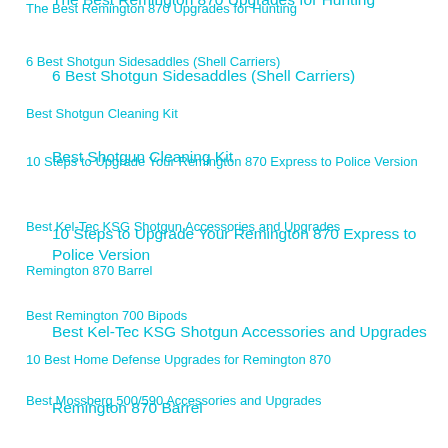The Best Remington 870 Upgrades for Hunting
6 Best Shotgun Sidesaddles (Shell Carriers)
Best Shotgun Cleaning Kit
10 Steps to Upgrade Your Remington 870 Express to Police Version
Best Kel-Tec KSG Shotgun Accessories and Upgrades
Remington 870 Barrel
Best Remington 700 Bipods
10 Best Home Defense Upgrades for Remington 870
Best Mossberg 500/590 Accessories and Upgrades
Remington 870 Non-MIM (Machined) Extractor
Best Thermal Sights/Scopes
7 Must Have Ruger 10/22 (Takedown) Upgrades: Stocks, Triggers